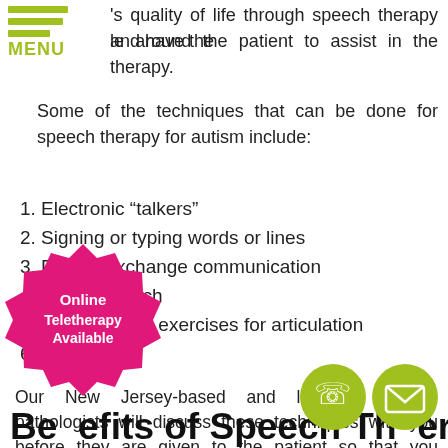MENU
's quality of life through speech therapy and have the le around the patient to assist in the therapy.
Some of the techniques that can be done for speech therapy for autism include:
1. Electronic “talkers”
2. Signing or typing words or lines
3. Picture exchange communication
4. Sound speech
5. Facial and lip exercises for articulation
6. Singing
Our New Jersey-based and licensed speech pathologists will discuss these techniques with you before they are given to the patient so that you understand how they will work. We will also reach out to your child's pediatrician to d... peech therapy to match any other treatments ...ing and provide a more understandable
[Figure (other): Pink star-burst badge with white text reading 'Online Teletherapy Available']
[Figure (other): Green circle phone icon]
[Figure (other): Green circle email/envelope icon]
Benefits of Speech Therapy